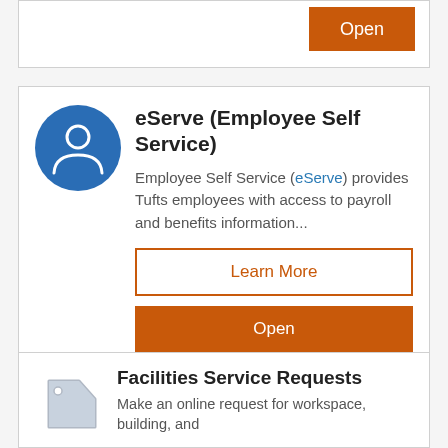[Figure (screenshot): Partial view of a card with an orange 'Open' button at the top of the page]
eServe (Employee Self Service)
Employee Self Service (eServe) provides Tufts employees with access to payroll and benefits information...
Learn More
Open
Facilities Service Requests
Make an online request for workspace, building, and